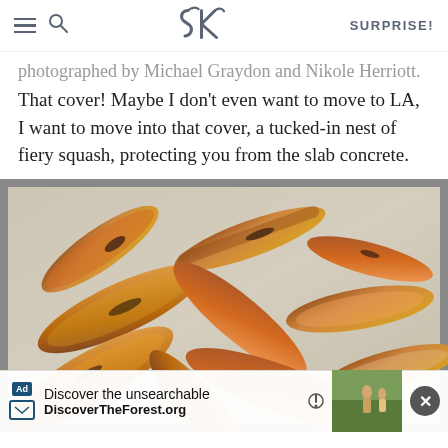SK | SURPRISE!
photographed by Michael Graydon and Nikole Herriott. That cover! Maybe I don't even want to move to LA, I want to move into that cover, a tucked-in nest of fiery squash, protecting you from the slab concrete.
[Figure (photo): Roasted sweet potato wedges on a foil-lined baking sheet, caramelized and golden brown]
Ad: Discover the unsearchable — DiscoverTheForest.org